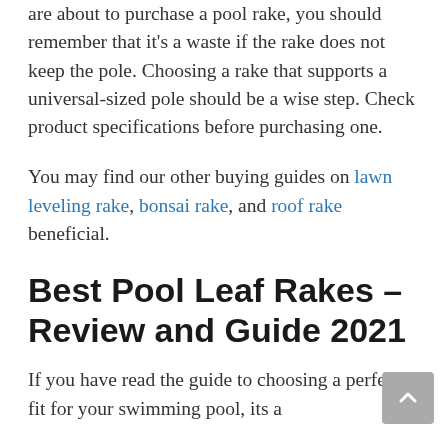are about to purchase a pool rake, you should remember that it's a waste if the rake does not keep the pole. Choosing a rake that supports a universal-sized pole should be a wise step. Check product specifications before purchasing one.
You may find our other buying guides on lawn leveling rake, bonsai rake, and roof rake beneficial.
Best Pool Leaf Rakes – Review and Guide 2021
If you have read the guide to choosing a perfect fit for your swimming pool, its a